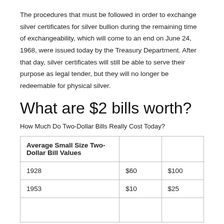The procedures that must be followed in order to exchange silver certificates for silver bullion during the remaining time of exchangeability, which will come to an end on June 24, 1968, were issued today by the Treasury Department. After that day, silver certificates will still be able to serve their purpose as legal tender, but they will no longer be redeemable for physical silver.
What are $2 bills worth?
How Much Do Two-Dollar Bills Really Cost Today?
| Average Small Size Two-Dollar Bill Values |  |  |
| --- | --- | --- |
| 1928 | $60 | $100 |
| 1953 | $10 | $25 |